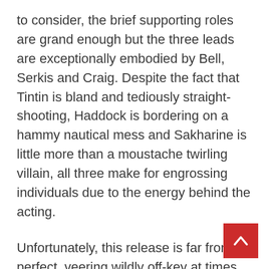to consider, the brief supporting roles are grand enough but the three leads are exceptionally embodied by Bell, Serkis and Craig. Despite the fact that Tintin is bland and tediously straight-shooting, Haddock is bordering on a hammy nautical mess and Sakharine is little more than a moustache twirling villain, all three make for engrossing individuals due to the energy behind the acting.
Unfortunately, this release is far from perfect, veering wildly off-key at times. Most of the story is pushed forward with a revelation from Tintin “Of course! The [insert artefact here], it can only mean the [insert plot point here] can be at [insert new location here]” Granted, this is quite common for most adventure/detective stories but the execution doesn’t flow as neatly as one would hope. I’m not saying the audience will be in any way lost or bewildered but it all seems a little too neat and